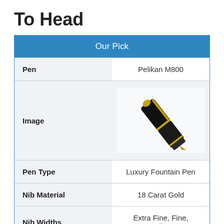To Head
| Our Pick |
| --- |
| Pen | Pelikan M800 |
| Image | [fountain pen image] |
| Pen Type | Luxury Fountain Pen |
| Nib Material | 18 Carat Gold |
| Nib Widths | Extra Fine, Fine, Medium, |